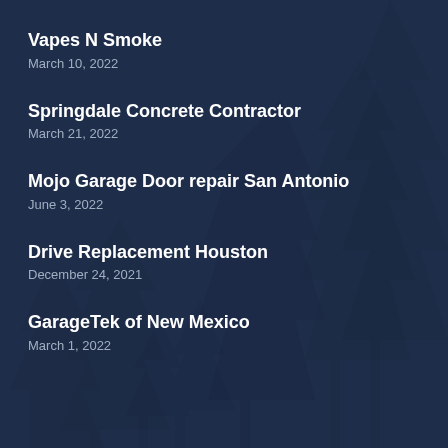Vapes N Smoke
March 10, 2022
Springdale Concrete Contractor
March 21, 2022
Mojo Garage Door repair San Antonio
June 3, 2022
Drive Replacement Houston
December 24, 2021
GarageTek of New Mexico
March 1, 2022